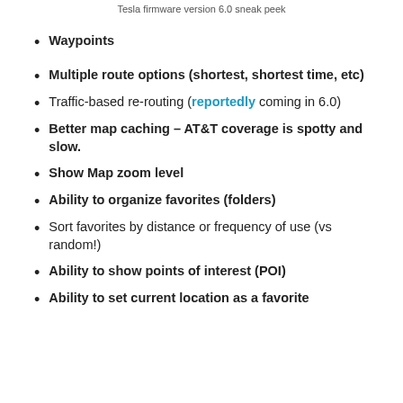Tesla firmware version 6.0 sneak peek
Waypoints
Multiple route options (shortest, shortest time, etc)
Traffic-based re-routing (reportedly coming in 6.0)
Better map caching – AT&T coverage is spotty and slow.
Show Map zoom level
Ability to organize favorites (folders)
Sort favorites by distance or frequency of use (vs random!)
Ability to show points of interest (POI)
Ability to set current location as a favorite